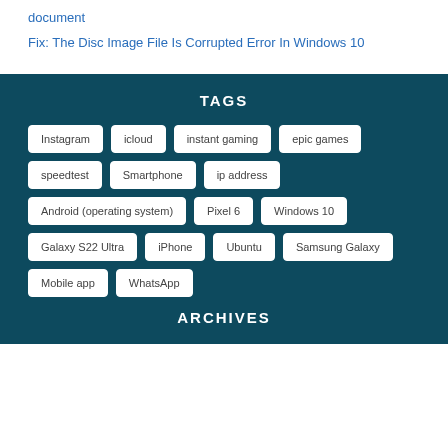document
Fix: The Disc Image File Is Corrupted Error In Windows 10
TAGS
Instagram
icloud
instant gaming
epic games
speedtest
Smartphone
ip address
Android (operating system)
Pixel 6
Windows 10
Galaxy S22 Ultra
iPhone
Ubuntu
Samsung Galaxy
Mobile app
WhatsApp
ARCHIVES